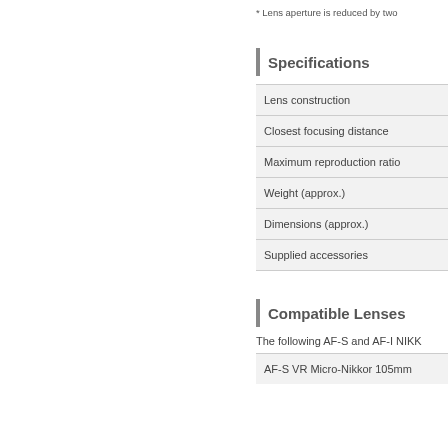* Lens aperture is reduced by two
Specifications
| Lens construction |
| Closest focusing distance |
| Maximum reproduction ratio |
| Weight (approx.) |
| Dimensions (approx.) |
| Supplied accessories |
Compatible Lenses
The following AF-S and AF-I NIKK
| AF-S VR Micro-Nikkor 105mm |